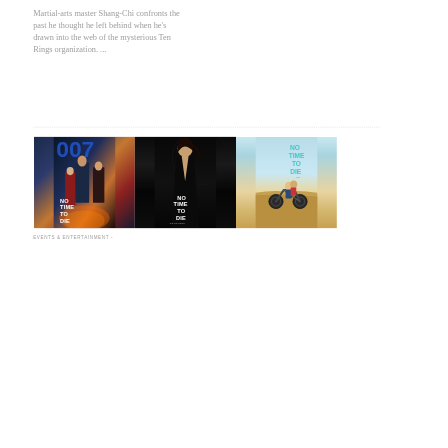Martial-arts master Shang-Chi confronts the past he thought he left behind when he's drawn into the web of the mysterious Ten Rings organization. ...
[Figure (photo): Three movie posters for 'No Time To Die' (James Bond 007 film) side by side. Left poster shows group of characters including James Bond with '007' text and 'NO TIME TO DIE' title. Middle poster shows a woman in a black evening gown with 'NO TIME TO DIE' title. Right poster shows characters on a motorcycle in a desert setting with 'NO TIME TO DIE' title in teal text.]
EVENTS & ENTERTAINMENT -